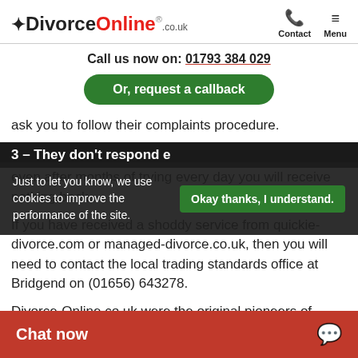DivorceOnline.co.uk — Contact | Menu
Call us now on: 01793 384 029
Or, request a callback
ask you to follow their complaints procedure.
Just to let you know, we use cookies to improve the performance of the site. Okay thanks, I understand.
3 – They don't respond even after months of trying every day you will receive nothing back.
If you have received a shoddy service from quickie-divorce.com or managed-divorce.co.uk, then you will need to contact the local trading standards office at Bridgend on (01656) 643278.
Divorce-Online.co.uk were the original pioneers of online divorce and since 180,000 couples obtain…